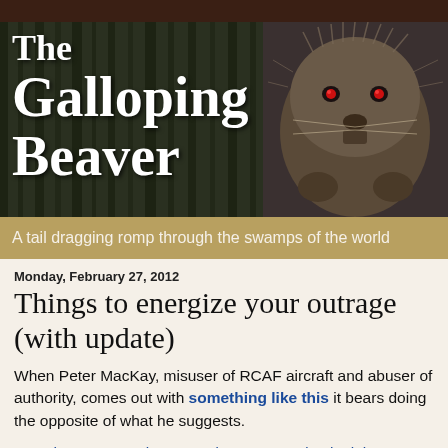[Figure (illustration): The Galloping Beaver blog banner with title text and a beaver animal photo on a dark forest background]
A tail dragging romp through the swamps of the world
Monday, February 27, 2012
Things to energize your outrage (with update)
When Peter MacKay, misuser of RCAF aircraft and abuser of authority, comes out with something like this it bears doing the opposite of what he suggests.
The Conservative Party does not need to look into "robocalls" made during the last federal election any